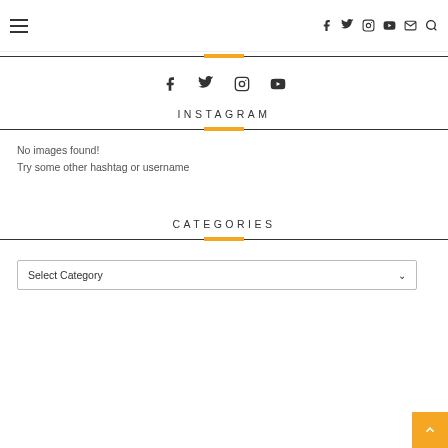Navigation bar with hamburger menu and social/search icons
[Figure (other): Social media icons row: Facebook, Twitter, Instagram, YouTube]
INSTAGRAM
No images found!
Try some other hashtag or username
CATEGORIES
Select Category (dropdown)